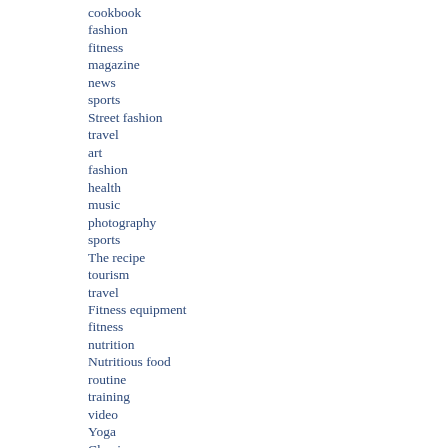cookbook
fashion
fitness
magazine
news
sports
Street fashion
travel
art
fashion
health
music
photography
sports
The recipe
tourism
travel
Fitness equipment
fitness
nutrition
Nutritious food
routine
training
video
Yoga
Classic cars
evaluation
technique
transact
Classic cars
technique
transact
luxury